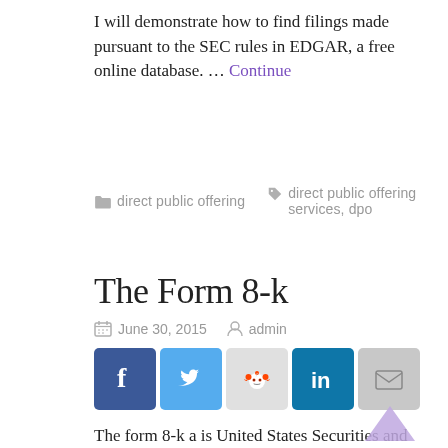I will demonstrate how to find filings made pursuant to the SEC rules in EDGAR, a free online database. … Continue
direct public offering   direct public offering services, dpo
The Form 8-k
June 30, 2015   admin
[Figure (infographic): Social media share buttons: Facebook (blue), Twitter (light blue), Reddit (gray/orange), LinkedIn (dark blue), Email (gray)]
The form 8-k a is United States Securities and Exchange Commission form used for public companies to notify investors of any material